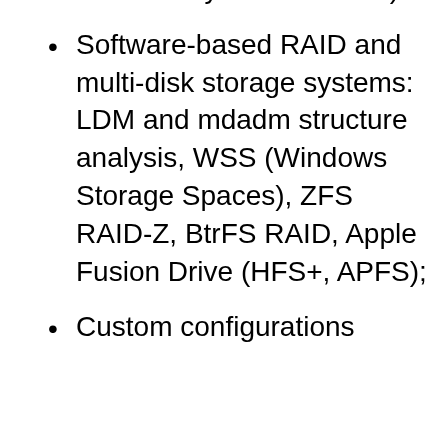RAID array as a member)
Software-based RAID and multi-disk storage systems: LDM and mdadm structure analysis, WSS (Windows Storage Spaces), ZFS RAID-Z, BtrFS RAID, Apple Fusion Drive (HFS+, APFS);
Custom configurations